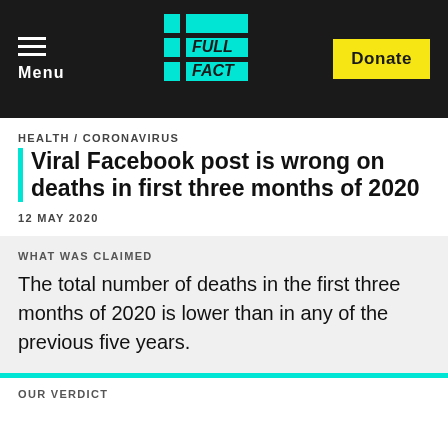Menu | FULL FACT | Donate
HEALTH / CORONAVIRUS
Viral Facebook post is wrong on deaths in first three months of 2020
12 MAY 2020
WHAT WAS CLAIMED
The total number of deaths in the first three months of 2020 is lower than in any of the previous five years.
OUR VERDICT